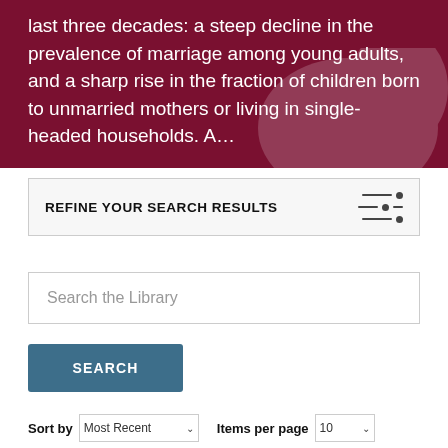last three decades: a steep decline in the prevalence of marriage among young adults, and a sharp rise in the fraction of children born to unmarried mothers or living in single-headed households. A…
REFINE YOUR SEARCH RESULTS
Search the Library
SEARCH
Sort by   Most Recent   Items per page   10